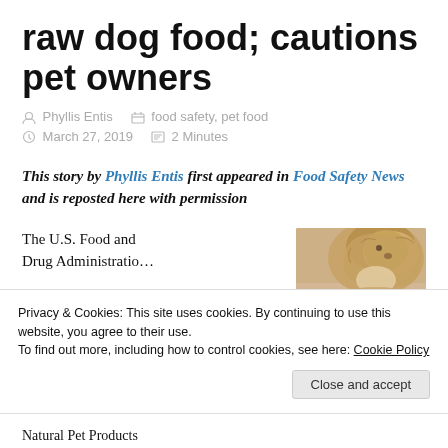raw dog food; cautions pet owners
Phyllis Entis   food safety, pet food   March 27, 2019   2 Minutes
This story by Phyllis Entis first appeared in Food Safety News and is reposted here with permission
The U.S. Food and Drug Administratio…
[Figure (photo): Photo of a fluffy dog]
Privacy & Cookies: This site uses cookies. By continuing to use this website, you agree to their use.
To find out more, including how to control cookies, see here: Cookie Policy
Close and accept
Natural Pet Products